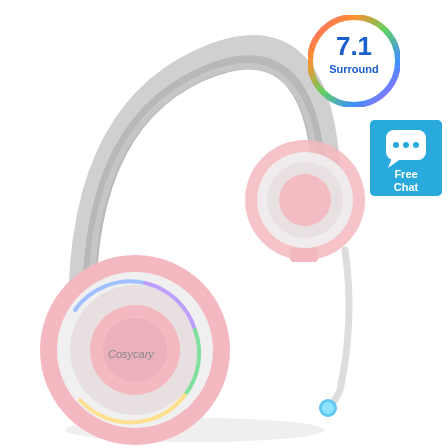[Figure (photo): Pink and white gaming headset with RGB LED lighting on ear cup, padded headband, and flexible boom microphone with blue LED tip. Brand name 'Cosycary' visible on ear cup.]
[Figure (infographic): Circular badge with rainbow gradient border showing '7.1 Surround' text in blue, indicating 7.1 surround sound feature.]
[Figure (infographic): Blue square badge with chat bubble icon and text 'Free Chat' in white.]